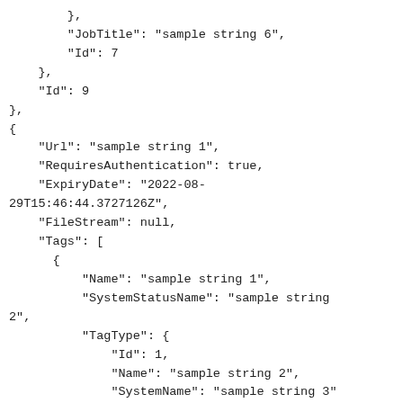},
            "JobTitle": "sample string 6",
            "Id": 7
        },
        "Id": 9
    },
    {
        "Url": "sample string 1",
        "RequiresAuthentication": true,
        "ExpiryDate": "2022-08-29T15:46:44.3727126Z",
        "FileStream": null,
        "Tags": [
          {
              "Name": "sample string 1",
              "SystemStatusName": "sample string 2",
              "TagType": {
                  "Id": 1,
                  "Name": "sample string 2",
                  "SystemName": "sample string 3"
              },
              "Id": 3